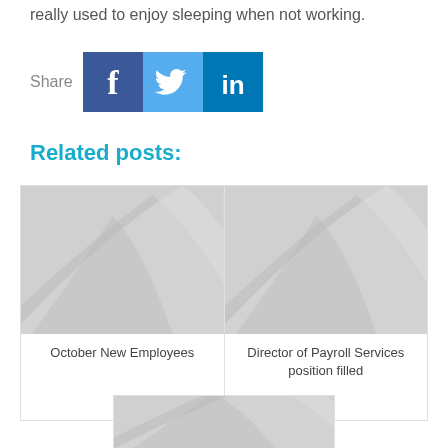really used to enjoy sleeping when not working.
[Figure (infographic): Share buttons for Facebook, Twitter, and LinkedIn social media platforms]
Related posts:
[Figure (photo): Placeholder image for October New Employees post]
October New Employees
[Figure (photo): Placeholder image for Director of Payroll Services position filled post]
Director of Payroll Services position filled
[Figure (photo): Placeholder image for a third related post (partially visible)]